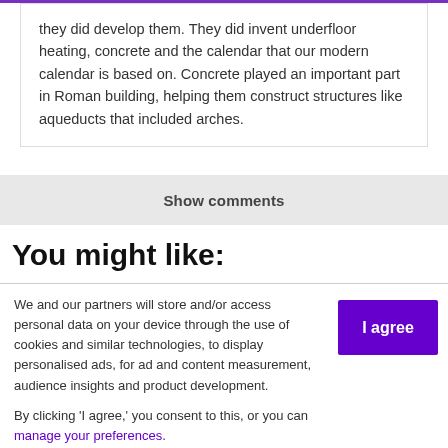they did develop them. They did invent underfloor heating, concrete and the calendar that our modern calendar is based on. Concrete played an important part in Roman building, helping them construct structures like aqueducts that included arches.
Show comments
You might like:
We and our partners will store and/or access personal data on your device through the use of cookies and similar technologies, to display personalised ads, for ad and content measurement, audience insights and product development.
By clicking 'I agree,' you consent to this, or you can manage your preferences.